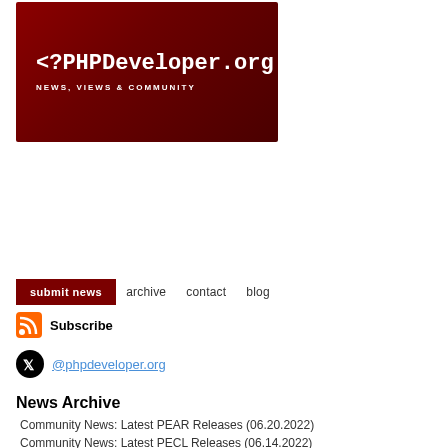[Figure (logo): PHPDeveloper.org logo banner with dark red background, showing '<?PHPDeveloper.org' in white monospace font and 'NEWS, VIEWS & COMMUNITY' subtitle]
submit news   archive   contact   blog
Subscribe
@phpdeveloper.org
News Archive
Community News: Latest PEAR Releases (06.20.2022)
Community News: Latest PECL Releases (06.14.2022)